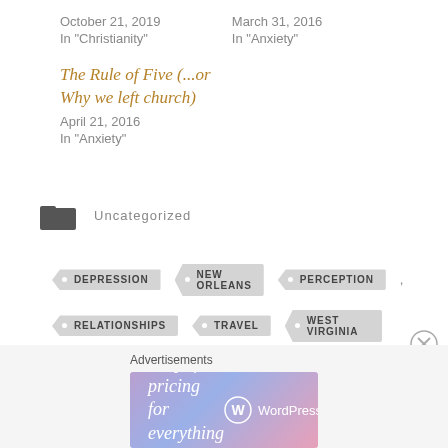October 21, 2019
In "Christianity"
March 31, 2016
In "Anxiety"
The Rule of Five (...or Why we left church)
April 21, 2016
In "Anxiety"
Uncategorized
DEPRESSION
NEW ORLEANS
PERCEPTION
RELATIONSHIPS
TRAVEL
WEST VIRGINIA
Advertisements
Simplified pricing for everything you need. WordPress.com